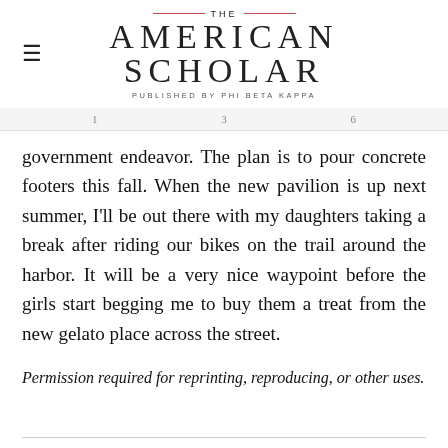THE AMERICAN SCHOLAR — PUBLISHED BY PHI BETA KAPPA
government endeavor. The plan is to pour concrete footers this fall. When the new pavilion is up next summer, I'll be out there with my daughters taking a break after riding our bikes on the trail around the harbor. It will be a very nice waypoint before the girls start begging me to buy them a treat from the new gelato place across the street.
Permission required for reprinting, reproducing, or other uses.